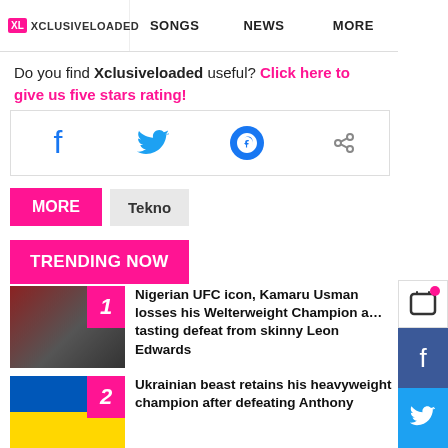XL XCLUSIVELOADED | SONGS | NEWS | MORE
Do you find Xclusiveloaded useful? Click here to give us five stars rating!
[Figure (infographic): Social share buttons: Facebook, Twitter, Messenger, Share]
MORE  Tekno
TRENDING NOW
1 Nigerian UFC icon, Kamaru Usman losses his Welterweight Champion after tasting defeat from skinny Leon Edwards
2 Ukrainian beast retains his heavyweight champion after defeating Anthony